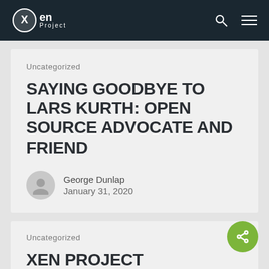Xen Project
Uncategorized
SAYING GOODBYE TO LARS KURTH: OPEN SOURCE ADVOCATE AND FRIEND
George Dunlap
January 31, 2020
Uncategorized
XEN PROJECT HYPERVISOR POWER